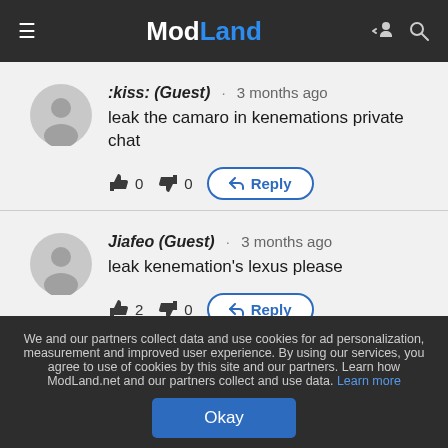ModLand
:kiss: (Guest) · 3 months ago
leak the camaro in kenemations private chat
👍 0  👎 0  Reply
Jiafeo (Guest) · 3 months ago
leak kenemation's lexus please
👍 2  👎 0  Reply
We and our partners collect data and use cookies for ad personalization, measurement and improved user experience. By using our services, you agree to use of cookies by this site and our partners. Learn how ModLand.net and our partners collect and use data. Learn more
Okay